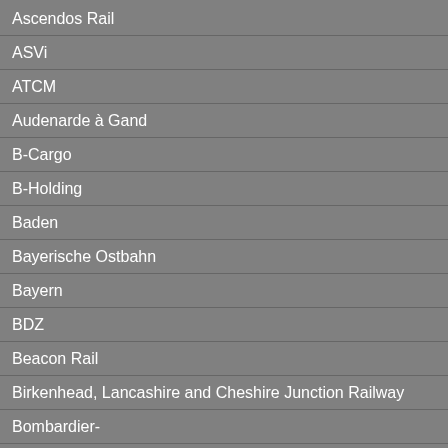Ascendos Rail +
ASVi +
ATCM +
Audenarde à Gand +
B-Cargo +
B-Holding +
Baden +
Bayerische Ostbahn +
Bayern +
BDZ +
Beacon Rail +
Birkenhead, Lancashire and Cheshire Junction Railway +
Bombardier- +
Bruxelles-Ixelles-Boendael +
Bruxelles-Tervueren +
Caernarvonshire Railway +
13.12.1961 SN
01.01.1971 SN
Kinkempois
Gouvy
Kinkempois
Info  LSV T
Accident  Tampo viaduc
Livrée  Verte 1
Livrée  Jaune
Révision  Révisi
Livrée  Jaune
Parc  Mise e
Démolition  Ferrai